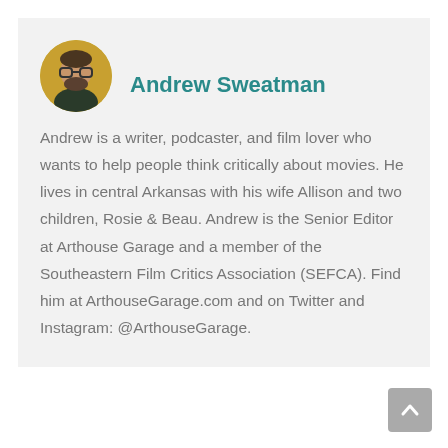Andrew Sweatman
[Figure (photo): Circular profile photo of Andrew Sweatman, a man with glasses and a beard, wearing a dark shirt, with a warm yellow/gold background.]
Andrew is a writer, podcaster, and film lover who wants to help people think critically about movies. He lives in central Arkansas with his wife Allison and two children, Rosie & Beau. Andrew is the Senior Editor at Arthouse Garage and a member of the Southeastern Film Critics Association (SEFCA). Find him at ArthouseGarage.com and on Twitter and Instagram: @ArthouseGarage.